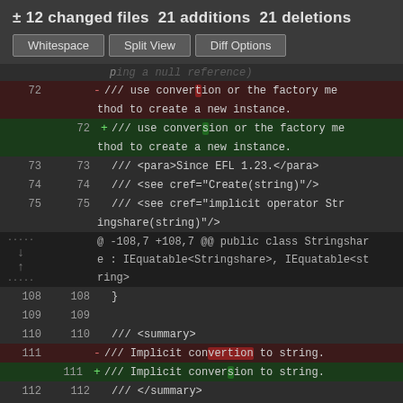± 12 changed files 21 additions 21 deletions
[Figure (screenshot): GitHub diff view with Whitespace, Split View, Diff Options buttons]
Code diff showing changes to Stringshare class documentation, correcting 'convertion' to 'conversion' in lines 72 and 111. Also shows hunk header @ -108,7 +108,7 @@ public class Stringshare : IEquatable<Stringshare>, IEquatable<string>
| old_ln | new_ln | marker | code |
| --- | --- | --- | --- |
| 72 |  | − |     /// use convertion or the factory method to create a new instance. |
|  | 72 | + |     /// use conversion or the factory method to create a new instance. |
| 73 | 73 |  |     /// <para>Since EFL 1.23.</para> |
| 74 | 74 |  |     /// <see cref="Create(string)"/> |
| 75 | 75 |  |     /// <see cref="implicit operator Stringshare(string)"/> |
| ... |  |  | @ -108,7 +108,7 @@ public class Stringshare : IEquatable<Stringshare>, IEquatable<string> |
| 108 | 108 |  |         } |
| 109 | 109 |  |  |
| 110 | 110 |  |     /// <summary> |
| 111 |  | − |     /// Implicit convertion to string. |
|  | 111 | + |     /// Implicit conversion to string. |
| 112 | 112 |  |     /// </summary> |
| 113 | 113 |  |     public static implicit operator stri |